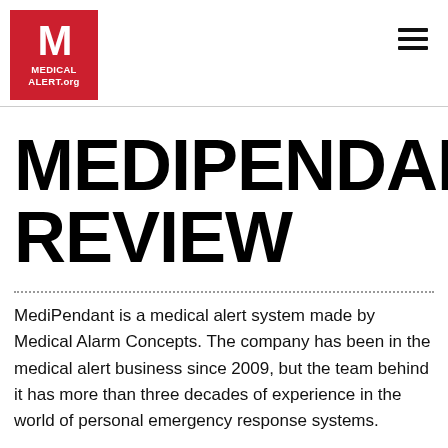MEDICAL ALERT.org
MEDIPENDANT REVIEW
MediPendant is a medical alert system made by Medical Alarm Concepts. The company has been in the medical alert business since 2009, but the team behind it has more than three decades of experience in the world of personal emergency response systems.